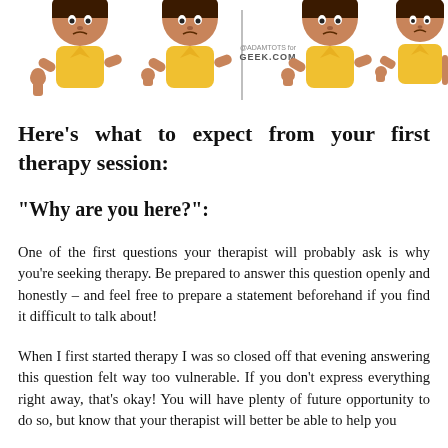[Figure (illustration): Cartoon illustration showing multiple figures of a person in a yellow shirt with thumbs down gesture, with '@ADAMTOTS for GEEK.COM' watermark in the center]
Here’s what to expect from your first therapy session:
“Why are you here?”:
One of the first questions your therapist will probably ask is why you’re seeking therapy. Be prepared to answer this question openly and honestly – and feel free to prepare a statement beforehand if you find it difficult to talk about!
When I first started therapy I was so closed off that evening answering this question felt way too vulnerable. If you don’t express everything right away, that’s okay! You will have plenty of future opportunity to do so, but know that your therapist will better be able to help you